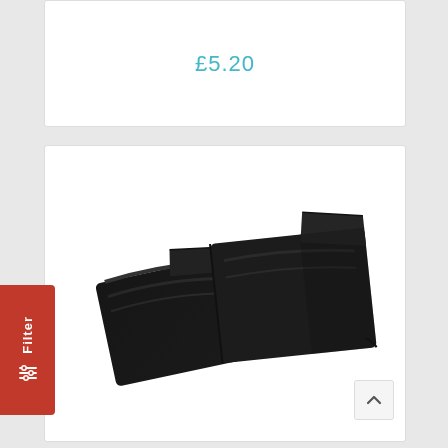£5.20
[Figure (photo): Two black leather card holder wallets displayed side by side at a slight angle on a white background. The left one is smaller and square-ish, the right one is slightly larger and rectangular.]